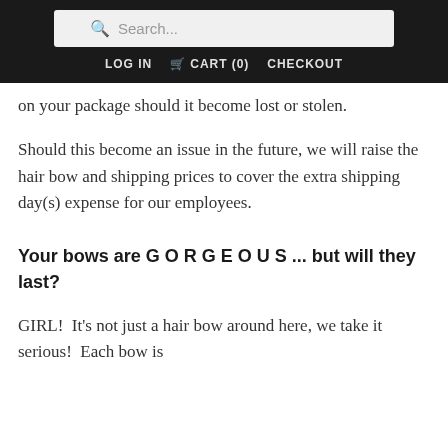Search... LOG IN  CART (0)  CHECKOUT
on your package should it become lost or stolen.
Should this become an issue in the future, we will raise the hair bow and shipping prices to cover the extra shipping day(s) expense for our employees.
Your bows are G O R G E O U S ... but will they last?
GIRL!  It's not just a hair bow around here, we take it serious!  Each bow is handmade and...